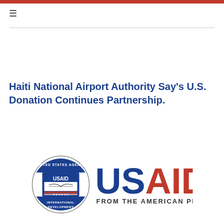≡
Haiti National Airport Authority Say's U.S. Donation Continues Partnership.
[Figure (logo): USAID logo: circular seal with 'United States Agency for International Development' and handshake, next to large USAID text in navy/red with 'FROM THE AMERICAN PEOPLE' beneath]